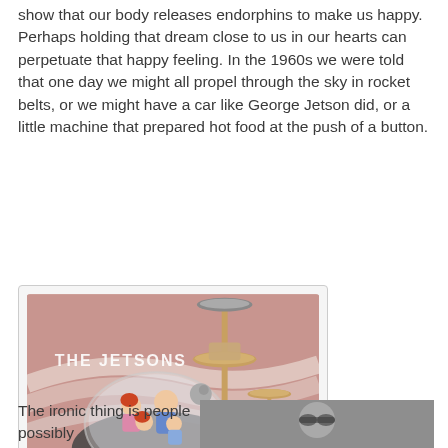show that our body releases endorphins to make us happy. Perhaps holding that dream close to us in our hearts can perpetuate that happy feeling. In the 1960s we were told that one day we might all propel through the sky in rocket belts, or we might have a car like George Jetson did, or a little machine that prepared hot food at the push of a button.
[Figure (illustration): The Jetsons cartoon promotional image showing the Jetson family in their bubble-topped flying car with futuristic city structures in the background. Pink/mauve color scheme. Text 'THE JETSONS' in white at top left.]
The ironic thing is people possibly
[Figure (photo): Black and white photograph, partially visible at bottom right of page, appears to show a person or animal with goggles.]